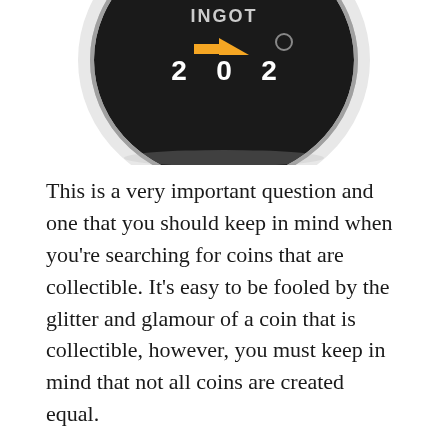[Figure (photo): Close-up photo of a silver commemorative coin showing the year 2020 with an orange arrow design on a dark face, partially cropped at the top of the page.]
This is a very important question and one that you should keep in mind when you're searching for coins that are collectible. It's easy to be fooled by the glitter and glamour of a coin that is collectible, however, you must keep in mind that not all coins are created equal.
Some coins are made of pure copper or copper-plated steel , while others are made of pure gold or silver. When buying collectible coins, you should always ensure that they are...